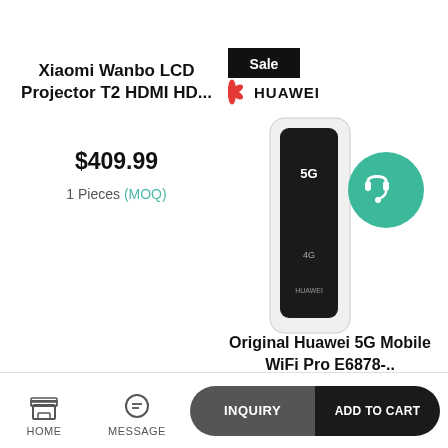Xiaomi Wanbo LCD Projector T2 HDMI HD...
$409.99
1 Pieces (MOQ)
[Figure (photo): Sale badge with black background and white text reading 'Sale', Huawei red logo with name]
[Figure (photo): Huawei 5G Mobile WiFi Pro device - slim black and white device with 5G label, shown with support/chat icon overlay]
Original Huawei 5G Mobile WiFi Pro E6878-..
$509.99
1 Pieces (MOQ)
HOME
MESSAGE
INQUIRY
ADD TO CART